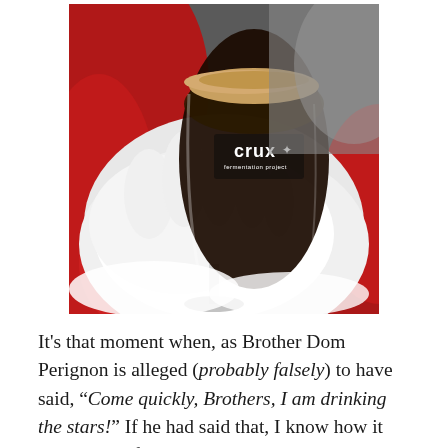[Figure (photo): Santa Claus white-gloved hand holding a Crux Fermentation Project snifter glass filled with dark beer, against a background of red Santa suit and white fur trim.]
It's that moment when, as Brother Dom Perignon is alleged (probably falsely) to have said, "Come quickly, Brothers, I am drinking the stars!" If he had said that, I know how it would have felt. I had a similar moment at